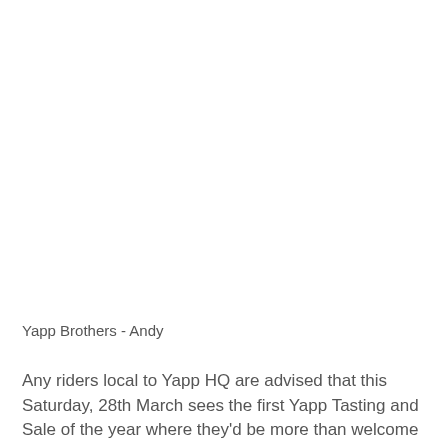Yapp Brothers - Andy
Any riders local to Yapp HQ are advised that this Saturday, 28th March sees the first Yapp Tasting and Sale of the year where they'd be more than welcome to pay us a